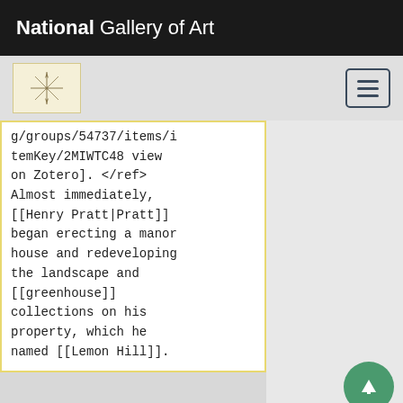National Gallery of Art
g/groups/54737/items/itemKey/2MIWTC48 view on Zotero]. </ref> Almost immediately, [[Henry Pratt|Pratt]] began erecting a manor house and redeveloping the landscape and [[greenhouse]] collections on his property, which he named [[Lemon Hill]].
[Figure (logo): Circular compass/star decorative logo icon on cream background]
[Figure (other): Hamburger menu button with three horizontal lines]